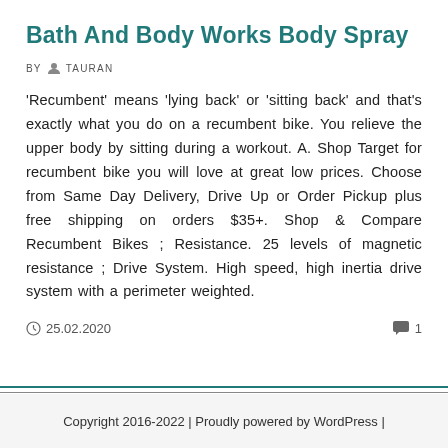Bath And Body Works Body Spray
BY  TAURAN
'Recumbent' means 'lying back' or 'sitting back' and that's exactly what you do on a recumbent bike. You relieve the upper body by sitting during a workout. A. Shop Target for recumbent bike you will love at great low prices. Choose from Same Day Delivery, Drive Up or Order Pickup plus free shipping on orders $35+. Shop & Compare Recumbent Bikes ; Resistance. 25 levels of magnetic resistance ; Drive System. High speed, high inertia drive system with a perimeter weighted.
25.02.2020  1
Copyright 2016-2022 | Proudly powered by WordPress |